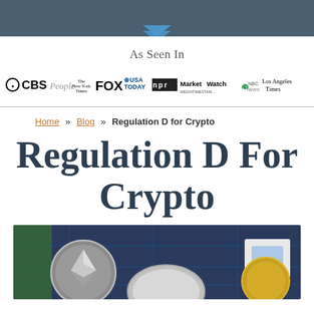[Figure (logo): Dark teal/gray header bar with a downward chevron arrow at the bottom center, part of a website header]
As Seen In
[Figure (logo): Row of media logos: CBS, People, The New York Times, FOX, USA TODAY, NPR, MarketWatch, NBC News, Los Angeles Times]
Home » Blog » Regulation D for Crypto
Regulation D For Crypto
[Figure (photo): Close-up photo of cryptocurrency coins (Ethereum and others) on a circuit board background]